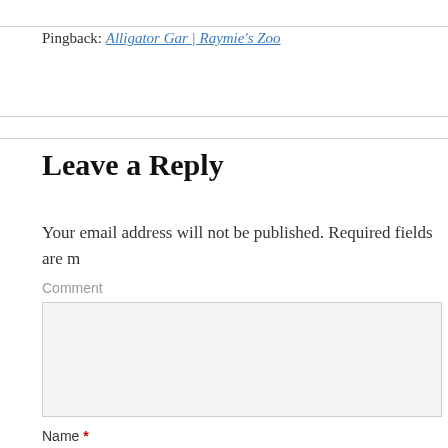Pingback: Alligator Gar | Raymie's Zoo
Leave a Reply
Your email address will not be published. Required fields are m
Comment
Name *